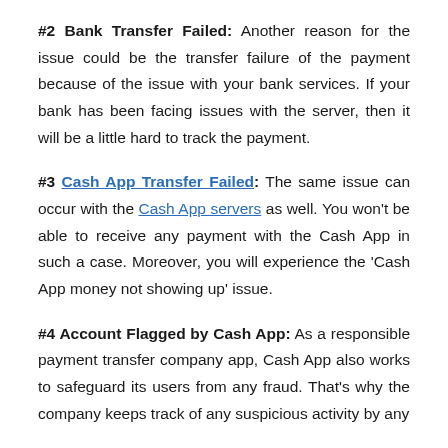#2 Bank Transfer Failed: Another reason for the issue could be the transfer failure of the payment because of the issue with your bank services. If your bank has been facing issues with the server, then it will be a little hard to track the payment.
#3 Cash App Transfer Failed: The same issue can occur with the Cash App servers as well. You won't be able to receive any payment with the Cash App in such a case. Moreover, you will experience the 'Cash App money not showing up' issue.
#4 Account Flagged by Cash App: As a responsible payment transfer company app, Cash App also works to safeguard its users from any fraud. That's why the company keeps track of any suspicious activity by any